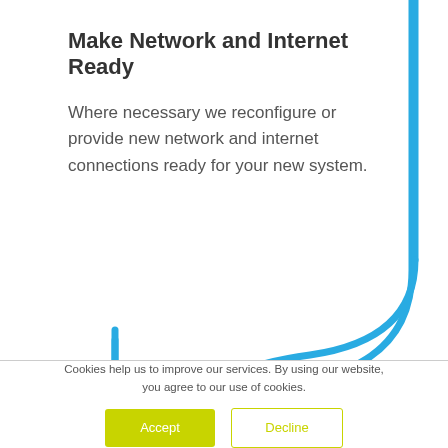Make Network and Internet Ready
Where necessary we reconfigure or provide new network and internet connections ready for your new system.
[Figure (other): Blue S-curve decorative line element running vertically on the right side and curving left at the bottom of the content area]
Cookies help us to improve our services. By using our website, you agree to our use of cookies.
Accept
Decline